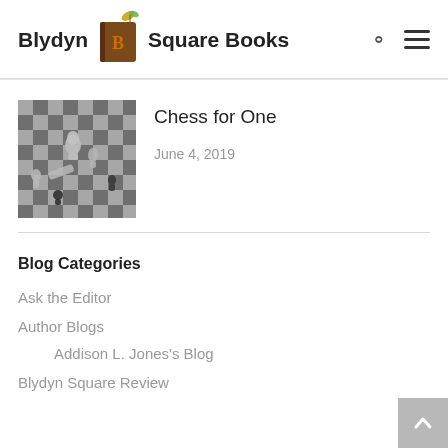Blydyn Square Books
[Figure (photo): Black and white photo of chess pieces on a chessboard]
Chess for One
June 4, 2019
Blog Categories
Ask the Editor
Author Blogs
Addison L. Jones's Blog
Blydyn Square Review